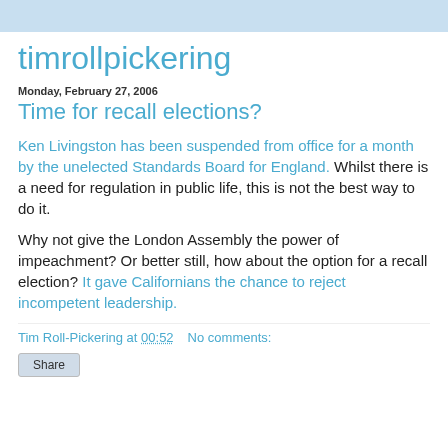timrollpickering
Monday, February 27, 2006
Time for recall elections?
Ken Livingston has been suspended from office for a month by the unelected Standards Board for England. Whilst there is a need for regulation in public life, this is not the best way to do it.

Why not give the London Assembly the power of impeachment? Or better still, how about the option for a recall election? It gave Californians the chance to reject incompetent leadership.
Tim Roll-Pickering at 00:52    No comments: